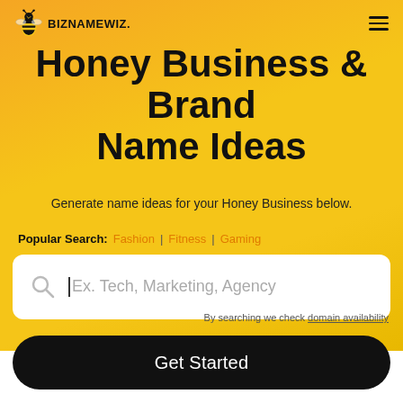BIZNAMEWIZ.
Honey Business & Brand Name Ideas
Generate name ideas for your Honey Business below.
Popular Search: Fashion | Fitness | Gaming
[Figure (screenshot): Search input box with placeholder text 'Ex. Tech, Marketing, Agency' and a search icon on the left]
Get Started
By searching we check domain availability